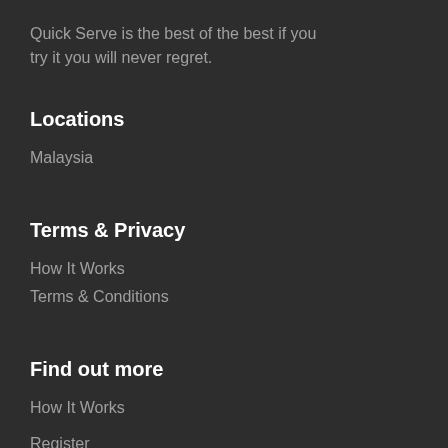Quick Serve is the best of the best if you try it you will never regret.
Locations
Malaysia
Terms & Privacy
How It Works
Terms & Conditions
Find out more
How It Works
Register